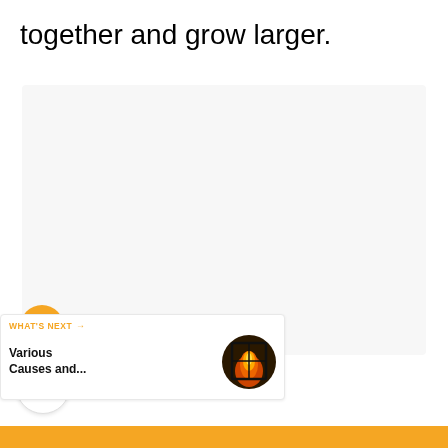together and grow larger.
[Figure (other): Large light gray content area placeholder box]
[Figure (other): Orange circular heart/favorite button icon]
[Figure (other): White circular share button icon with share symbol and plus sign]
WHAT'S NEXT → Various Causes and...
[Figure (photo): Thumbnail image showing fire/flames through a window or doorway]